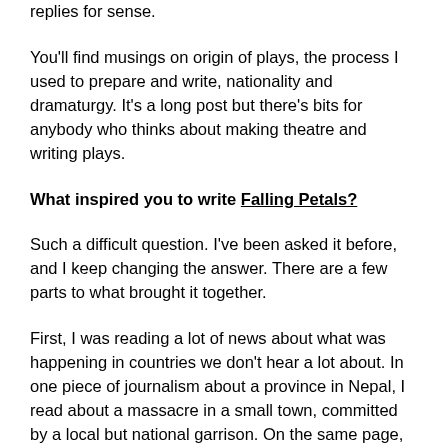replies for sense.
You'll find musings on origin of plays, the process I used to prepare and write, nationality and dramaturgy. It's a long post but there's bits for anybody who thinks about making theatre and writing plays.
What inspired you to write Falling Petals?
Such a difficult question. I've been asked it before, and I keep changing the answer. There are a few parts to what brought it together.
First, I was reading a lot of news about what was happening in countries we don't hear a lot about. In one piece of journalism about a province in Nepal, I read about a massacre in a small town, committed by a local but national garrison. On the same page, about the same nation, I read a description of blossom falling to the